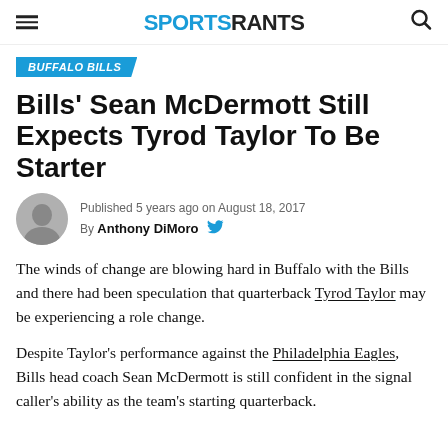SPORTS RANTS
BUFFALO BILLS
Bills' Sean McDermott Still Expects Tyrod Taylor To Be Starter
Published 5 years ago on August 18, 2017
By Anthony DiMoro
The winds of change are blowing hard in Buffalo with the Bills and there had been speculation that quarterback Tyrod Taylor may be experiencing a role change.
Despite Taylor's performance against the Philadelphia Eagles, Bills head coach Sean McDermott is still confident in the signal caller's ability as the team's starting quarterback.